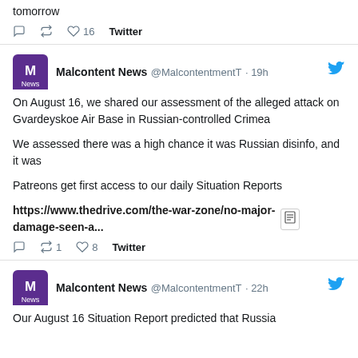tomorrow
16  Twitter
Malcontent News @MalcontentmentT · 19h
On August 16, we shared our assessment of the alleged attack on Gvardeyskoe Air Base in Russian-controlled Crimea

We assessed there was a high chance it was Russian disinfo, and it was

Patreons get first access to our daily Situation Reports

https://www.thedrive.com/the-war-zone/no-major-damage-seen-a...
1  8  Twitter
Malcontent News @MalcontentmentT · 22h
Our August 16 Situation Report predicted that Russia